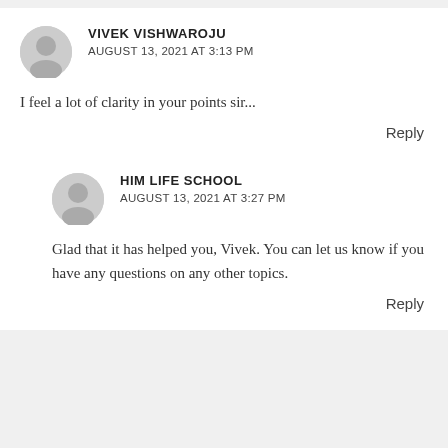VIVEK VISHWAROJU
AUGUST 13, 2021 AT 3:13 PM
I feel a lot of clarity in your points sir...
Reply
HIM LIFE SCHOOL
AUGUST 13, 2021 AT 3:27 PM
Glad that it has helped you, Vivek. You can let us know if you have any questions on any other topics.
Reply